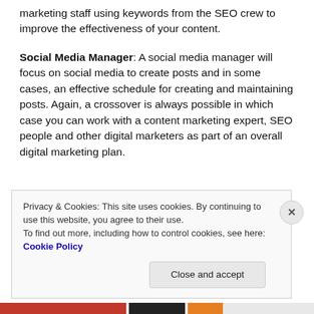marketing staff using keywords from the SEO crew to improve the effectiveness of your content.
Social Media Manager: A social media manager will focus on social media to create posts and in some cases, an effective schedule for creating and maintaining posts. Again, a crossover is always possible in which case you can work with a content marketing expert, SEO people and other digital marketers as part of an overall digital marketing plan.
Privacy & Cookies: This site uses cookies. By continuing to use this website, you agree to their use.
To find out more, including how to control cookies, see here: Cookie Policy